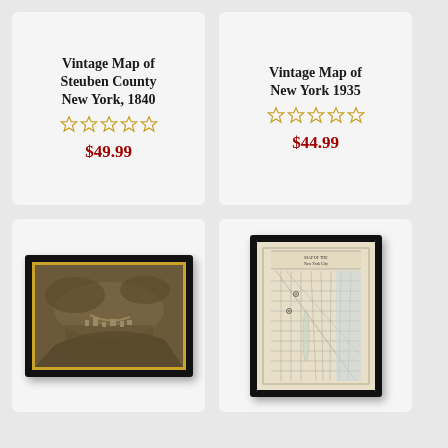Vintage Map of Steuben County New York, 1840
★★★★★ (empty stars)
$49.99
Vintage Map of New York 1935
★★★★★ (empty stars)
$44.99
[Figure (photo): Framed vintage bird's-eye view map of Ithaca, NY in sepia tones with black frame and gold mat, labeled ITHACA NY at the bottom]
[Figure (photo): Framed vintage street grid map of New York City in cream/beige tones with black frame, showing street layout]